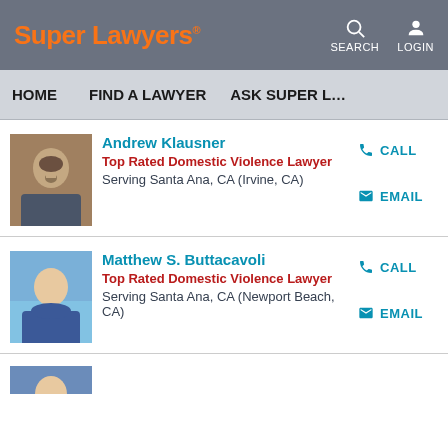Super Lawyers
SEARCH LOGIN
HOME  FIND A LAWYER  ASK SUPER L…
Andrew Klausner
Top Rated Domestic Violence Lawyer
Serving Santa Ana, CA (Irvine, CA)
CALL
EMAIL
Matthew S. Buttacavoli
Top Rated Domestic Violence Lawyer
Serving Santa Ana, CA (Newport Beach, CA)
CALL
EMAIL
[Figure (photo): Headshot of Andrew Klausner, a man with dark hair and mustache wearing a suit]
[Figure (photo): Headshot of Matthew S. Buttacavoli, a man in a blue suit smiling]
[Figure (photo): Partial headshot of a third lawyer at bottom of page]